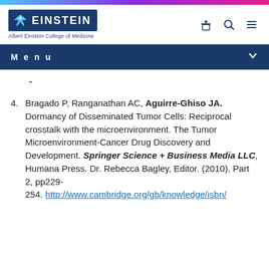[Figure (logo): Albert Einstein College of Medicine logo with blue box and bird icon, and navigation icons]
Menu
-
4. Bragado P, Ranganathan AC, Aguirre-Ghiso JA. Dormancy of Disseminated Tumor Cells: Reciprocal crosstalk with the microenvironment. The Tumor Microenvironment-Cancer Drug Discovery and Development. Springer Science + Business Media LLC, Humana Press. Dr. Rebecca Bagley, Editor. (2010), Part 2, pp229-254. http://www.cambridge.org/gb/knowledge/isbn/